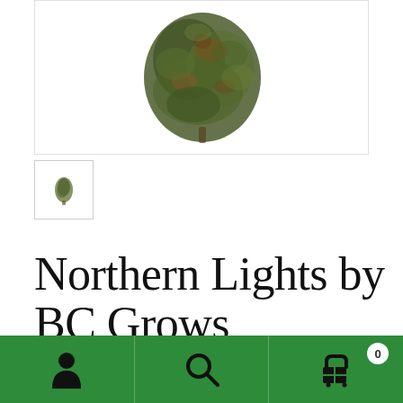[Figure (photo): Product photo of a cannabis bud (Northern Lights strain) shown against a white background, with a small thumbnail image below it]
Northern Lights by BC Grows
[Figure (infographic): Green bottom navigation bar with person/account icon, search magnifying glass icon, and shopping cart icon with a circular badge showing '0']